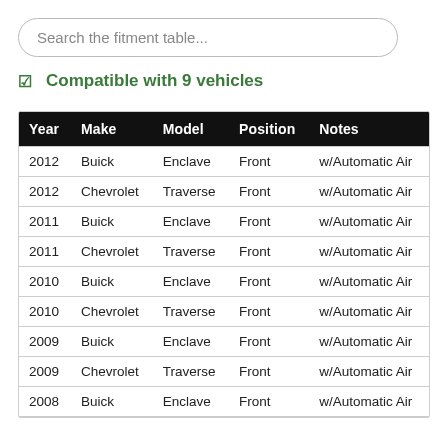Search the fitment table...
✓ Compatible with 9 vehicles
| Year | Make | Model | Position | Notes |
| --- | --- | --- | --- | --- |
| 2012 | Buick | Enclave | Front | w/Automatic Air |
| 2012 | Chevrolet | Traverse | Front | w/Automatic Air |
| 2011 | Buick | Enclave | Front | w/Automatic Air |
| 2011 | Chevrolet | Traverse | Front | w/Automatic Air |
| 2010 | Buick | Enclave | Front | w/Automatic Air |
| 2010 | Chevrolet | Traverse | Front | w/Automatic Air |
| 2009 | Buick | Enclave | Front | w/Automatic Air |
| 2009 | Chevrolet | Traverse | Front | w/Automatic Air |
| 2008 | Buick | Enclave | Front | w/Automatic Air |